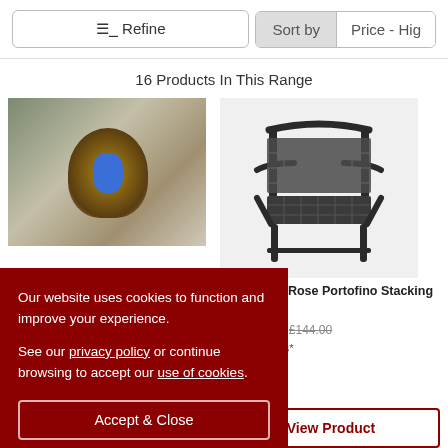≡ Refine
Sort by | Price - High
16 Products In This Range
[Figure (photo): Outdoor fountain with woven basket base and blue LED light, on gravel background]
[Figure (photo): Alexander Rose Portofino Stacking Armchair - dark grey metal mesh garden chair]
Alexander Rose Portofino Stacking Armchair
£129.60  £144.00
20 - 30 Days*
View Product
Our website uses cookies to function and improve your experience.

See our privacy policy or continue browsing to accept our use of cookies.
Accept & Close